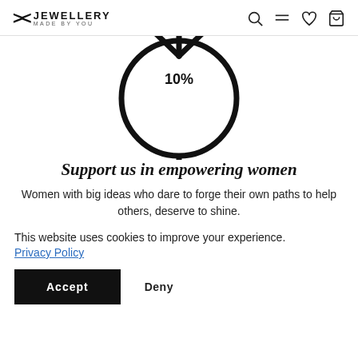XC JEWELLERY MADE BY YOU
[Figure (illustration): Female/Venus symbol (circle with cross below) with '10%' text inside at top, shown partially cropped from top]
Support us in empowering women
Women with big ideas who dare to forge their own paths to help others, deserve to shine.
This website uses cookies to improve your experience.
Privacy Policy
Accept   Deny